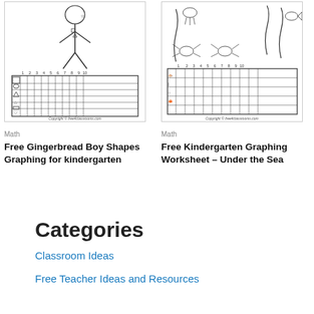[Figure (illustration): Black and white gingerbread boy with shapes worksheet showing a tally/graphing grid with numbers 1-10 and shape symbols]
Math
Free Gingerbread Boy Shapes Graphing for kindergarten
[Figure (illustration): Black and white under the sea graphing worksheet with sea creatures and a graphing grid with numbers 1-10]
Math
Free Kindergarten Graphing Worksheet – Under the Sea
Categories
Classroom Ideas
Free Teacher Ideas and Resources